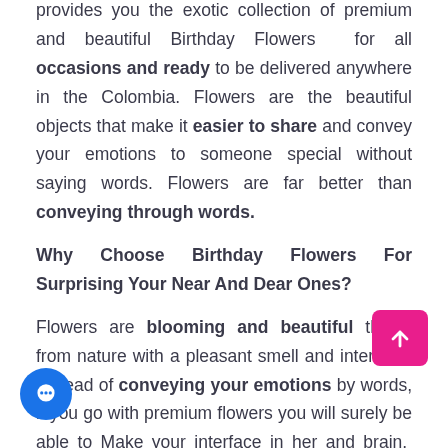provides you the exotic collection of premium and beautiful Birthday Flowers for all occasions and ready to be delivered anywhere in the Colombia. Flowers are the beautiful objects that make it easier to share and convey your emotions to someone special without saying words. Flowers are far better than conveying through words.
Why Choose Birthday Flowers For Surprising Your Near And Dear Ones?
Flowers are blooming and beautiful things from nature with a pleasant smell and interface. Instead of conveying your emotions by words, if you go with premium flowers you will surely be able to Make your interface in her and brain. 1800-Gifts is with you and provides all possible help to you and makes your work happen. ifferent flowers suited for different occasions and 1800-Gifts is taking care of choosing the right flower according